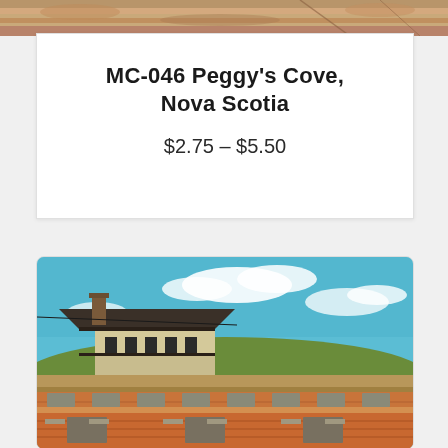[Figure (photo): Top strip of a sandy/rocky texture image, cropped at top of page]
MC-046 Peggy's Cove, Nova Scotia
$2.75 – $5.50
[Figure (photo): Photo of a historic fort building with brick walls and embrasures, green hill behind it with a wooden structure on top, bright blue sky with white clouds]